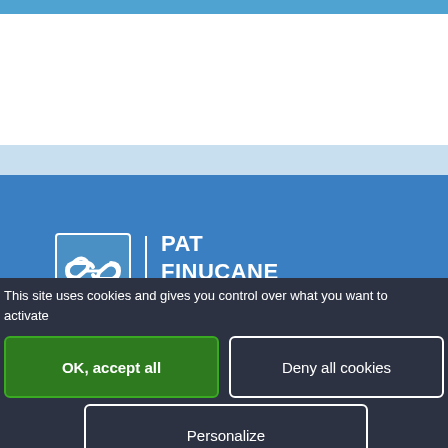[Figure (logo): Pat Finucane Centre logo — chain-link icon in a square box with white border, next to bold white text reading PAT FINUCANE CENTRE]
The Pat Finucane Centre is registered as a Company
This site uses cookies and gives you control over what you want to activate
OK, accept all
Deny all cookies
Personalize